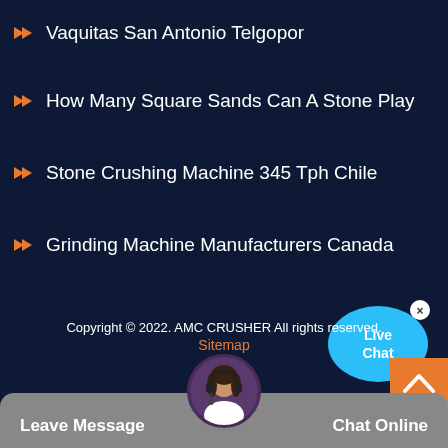Vaquitas San Antonio Telgopor
How Many Square Sands Can A Stone Play
Stone Crushing Machine 345 Tph Chile
Grinding Machine Manufacturers Canada
[Figure (illustration): Live Chat speech bubble widget with blue bubble and white text 'Live Chat' and an X close button]
Copyright © 2022. AMC CRUSHER All rights reserved.
Sitemap
[Figure (illustration): Orange scroll-to-top button with upward chevron arrow]
[Figure (photo): Avatar of a woman wearing a headset, circular cropped photo]
Leave Message   Chat Online